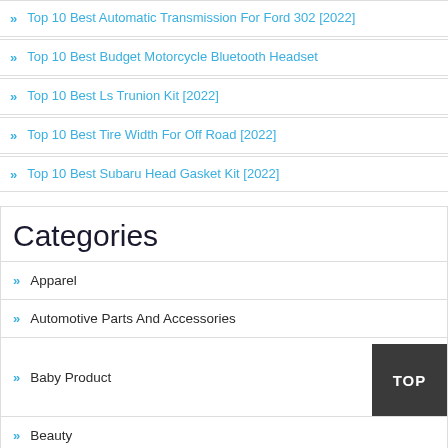Top 10 Best Automatic Transmission For Ford 302 [2022]
Top 10 Best Budget Motorcycle Bluetooth Headset
Top 10 Best Ls Trunion Kit [2022]
Top 10 Best Tire Width For Off Road [2022]
Top 10 Best Subaru Head Gasket Kit [2022]
Categories
Apparel
Automotive Parts And Accessories
Baby Product
Beauty
Drugstore